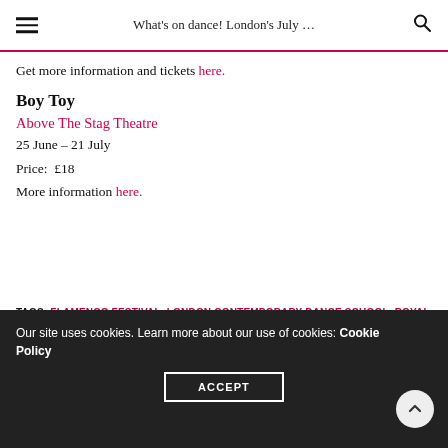What's on dance! London's July …
Get more information and tickets here.
Boy Toy
Above The Stag Theatre
25 June – 21 July
Price:  £18
More information here.
TAGS: FLAMENCO FESTIVAL, LONDON CONTEMPORARY DANCE SCHOOL, ROYAL BALLET, SADLER'S WELL, SOUTHBANK CENTRE, SPARTACUS, THE ROYAL BALLET SCHOOL, TRINITY LABAN, JLDANCE
Our site uses cookies. Learn more about our use of cookies: Cookie Policy
ACCEPT